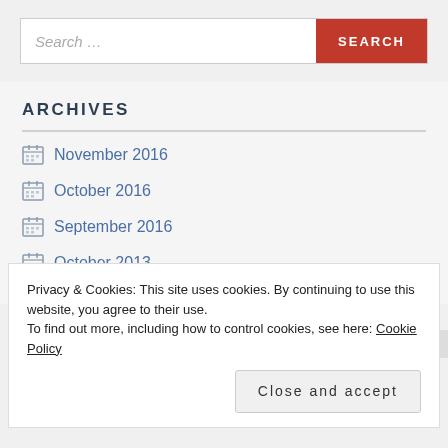[Figure (screenshot): Search bar with text input placeholder 'Search ...' and red SEARCH button]
ARCHIVES
November 2016
October 2016
September 2016
October 2013
Privacy & Cookies: This site uses cookies. By continuing to use this website, you agree to their use.
To find out more, including how to control cookies, see here: Cookie Policy
Close and accept